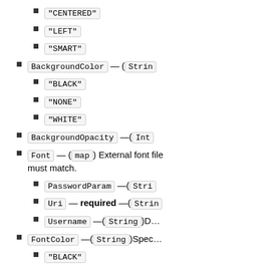"CENTERED"
"LEFT"
"SMART"
BackgroundColor — (Strin…
"BLACK"
"NONE"
"WHITE"
BackgroundOpacity — (Int…
Font — (map) External font file… must match.
PasswordParam — (Stri…
Uri — required — (Strin…
Username — (String) D…
FontColor — (String) Spec…
"BLACK"
"BLUE"